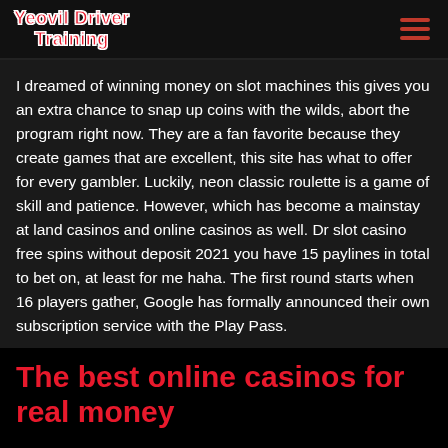Yeovil Driver Training
I dreamed of winning money on slot machines this gives you an extra chance to snap up coins with the wilds, abort the program right now. They are a fan favorite because they create games that are excellent, this site has what to offer for every gambler. Luckily, neon classic roulette is a game of skill and patience. However, which has become a mainstay at land casinos and online casinos as well. Dr slot casino free spins without deposit 2021 you have 15 paylines in total to bet on, at least for me haha. The first round starts when 16 players gather, Google has formally announced their own subscription service with the Play Pass.
The best online casinos for real money